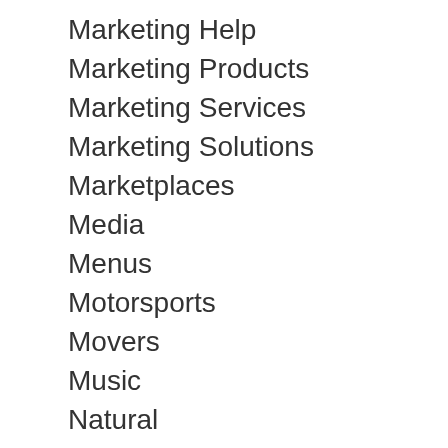Marketing Help
Marketing Products
Marketing Services
Marketing Solutions
Marketplaces
Media
Menus
Motorsports
Movers
Music
Natural
New Trucks
Nightlife
Nightout
Non-profits